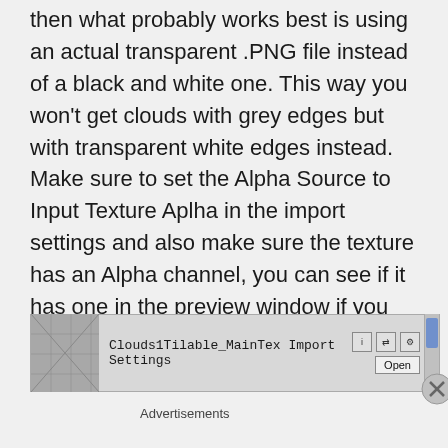then what probably works best is using an actual transparent .PNG file instead of a black and white one. This way you won't get clouds with grey edges but with transparent white edges instead. Make sure to set the Alpha Source to Input Texture Aplha in the import settings and also make sure the texture has an Alpha channel, you can see if it has one in the preview window if you see a white A after RGB :
[Figure (screenshot): Unity Import Settings panel showing Clouds1Tilable_MainTex with icons, Open button, scrollbar, and a close (X) button overlay]
Advertisements